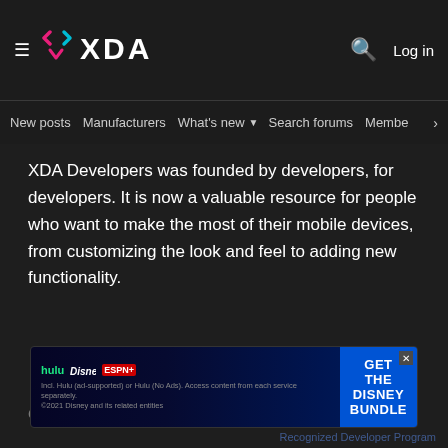XDA Developers
New posts  Manufacturers  What's new  Search forums  Membe
XDA Developers was founded by developers, for developers. It is now a valuable resource for people who want to make the most of their mobile devices, from customizing the look and feel to adding new functionality.
Crafted by Audentio
MORE INFO
USEFUL LINKS
Contact us
Advertise
Best Phones
Root Any Device
Terms and rules
Tutorials
Sugg...
[Figure (infographic): Disney Bundle advertisement banner with Hulu, Disney+, ESPN+ logos and text 'GET THE DISNEY BUNDLE']
Recognized Developer Program